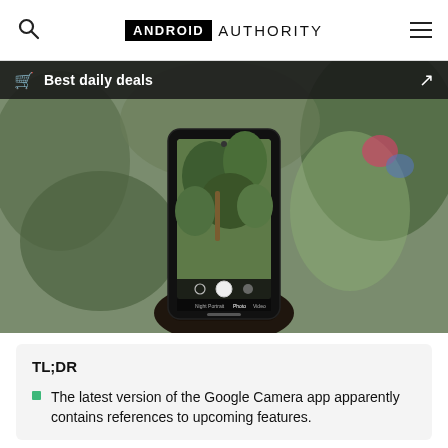ANDROID AUTHORITY
Best daily deals
[Figure (photo): A hand holding a smartphone running the Google Camera app, pointed at outdoor foliage. The phone screen shows a camera viewfinder capturing bushes/shrubs. The background is blurred greenery.]
TL;DR
The latest version of the Google Camera app apparently contains references to upcoming features.